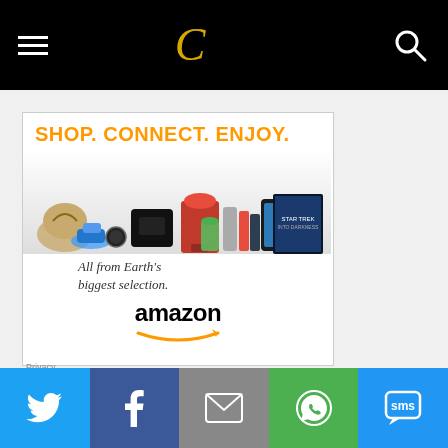Navigation header with hamburger menu, C logo, and search icon
[Figure (illustration): Amazon advertisement banner: 'SHOP. CONNECT. ENJOY.' slogan in orange, product images (bag, sneakers, PlayStation, mixer, tablet, books, movie), tagline 'All from Earth's biggest selection.', amazon logo with smile]
Privacy
Social share buttons: Twitter, Facebook, Email, WhatsApp, SMS